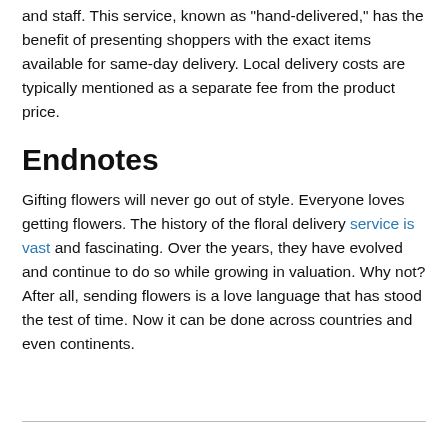and staff. This service, known as "hand-delivered," has the benefit of presenting shoppers with the exact items available for same-day delivery. Local delivery costs are typically mentioned as a separate fee from the product price.
Endnotes
Gifting flowers will never go out of style. Everyone loves getting flowers. The history of the floral delivery service is vast and fascinating. Over the years, they have evolved and continue to do so while growing in valuation. Why not? After all, sending flowers is a love language that has stood the test of time. Now it can be done across countries and even continents.